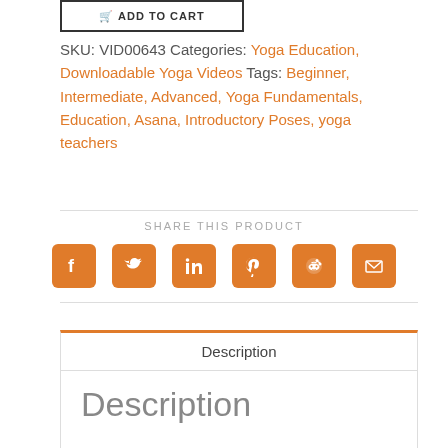[Figure (other): Add to Cart button at top of page]
SKU: VID00643 Categories: Yoga Education, Downloadable Yoga Videos Tags: Beginner, Intermediate, Advanced, Yoga Fundamentals, Education, Asana, Introductory Poses, yoga teachers
SHARE THIS PRODUCT
[Figure (other): Social share icons: Facebook, Twitter, LinkedIn, Pinterest, Reddit, Email — all in orange rounded squares]
Description
Description